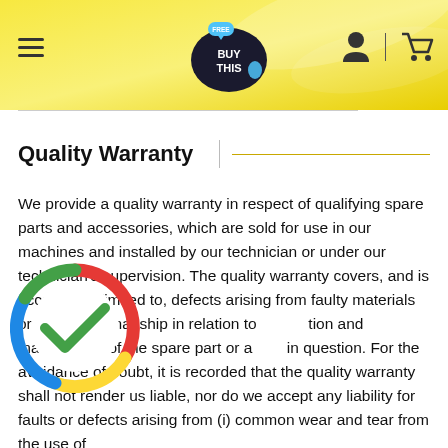BUY THIS (logo with FREE tag)
Quality Warranty
We provide a quality warranty in respect of qualifying spare parts and accessories, which are sold for use in our machines and installed by our technician or under our technician's supervision. The quality warranty covers, and is accordingly limited to, defects arising from faulty materials or poor craftsmanship in relation to production and manufacture of the spare part or accessory in question. For the avoidance of doubt, it is recorded that the quality warranty shall not render us liable, nor do we accept any liability for faults or defects arising from (i) common wear and tear from the use of
[Figure (logo): Colorful circular checkmark icon overlaid on the text, bottom-left area]